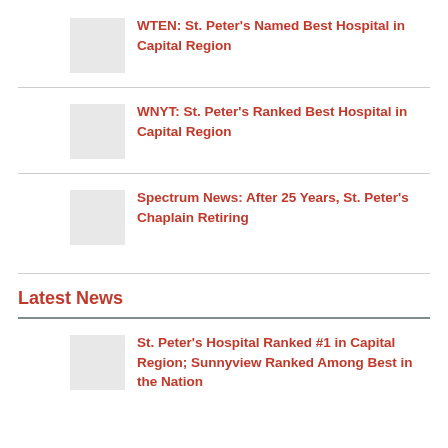WTEN: St. Peter's Named Best Hospital in Capital Region
WNYT: St. Peter's Ranked Best Hospital in Capital Region
Spectrum News: After 25 Years, St. Peter's Chaplain Retiring
Latest News
St. Peter's Hospital Ranked #1 in Capital Region; Sunnyview Ranked Among Best in the Nation